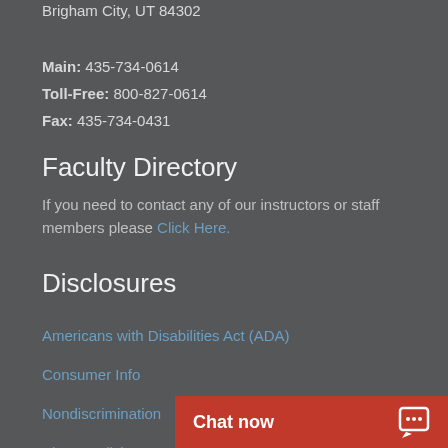Brigham City, UT 84302
Main: 435-734-0614
Toll-Free: 800-827-0614
Fax: 435-734-0431
Faculty Directory
If you need to contact any of our instructors or staff members please Click Here.
Disclosures
Americans with Disabilities Act (ADA)
Consumer Info
Nondiscrimination
Plans, Policies, & Proc…